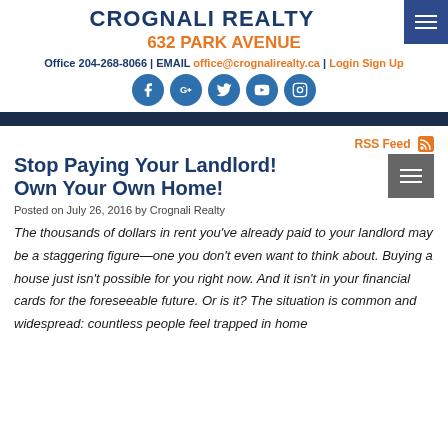CROGNALI REALTY
632 PARK AVENUE
Office 204-268-8066 | EMAIL office@crognalirealty.ca | Login Sign Up
[Figure (infographic): Five social media circular icon buttons: Facebook, Google+, Twitter, YouTube, Instagram — all in blue]
Stop Paying Your Landlord! Own Your Own Home!
Posted on July 26, 2016 by Crognali Realty
The thousands of dollars in rent you've already paid to your landlord may be a staggering figure—one you don't even want to think about. Buying a house just isn't possible for you right now.  And it isn't in your financial cards for the foreseeable future.  Or is it?  The situation is common and widespread:  countless people feel trapped in home